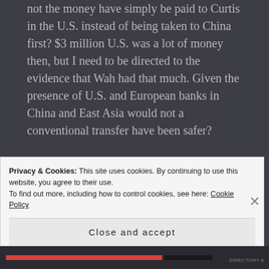not the money have simply be paid to Curtis in the U.S. instead of being taken to China first? $3 million U.S. was a lot of money then, but I need to be directed to the evidence that Wah had that much. Given the presence of U.S. and European banks in China and East Asia would not a conventional transfer have been safer?

I think that Ameila and Fred crashed into the Pacific near Howland Island. No
Privacy & Cookies: This site uses cookies. By continuing to use this website, you agree to their use.
To find out more, including how to control cookies, see here: Cookie Policy

Close and accept